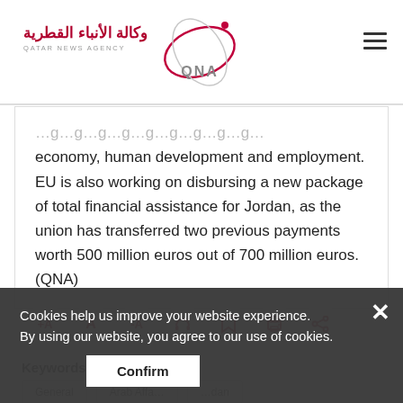[Figure (logo): Qatar News Agency (QNA) logo with Arabic text and orbital graphic design]
economy, human development and employment. EU is also working on disbursing a new package of total financial assistance for Jordan, as the union has transferred two previous payments worth 500 million euros out of 700 million euros. (QNA)
Keywords:
Cookies help us improve your website experience. By using our website, you agree to our use of cookies.
Confirm
General | Arab Affairs | Jordan